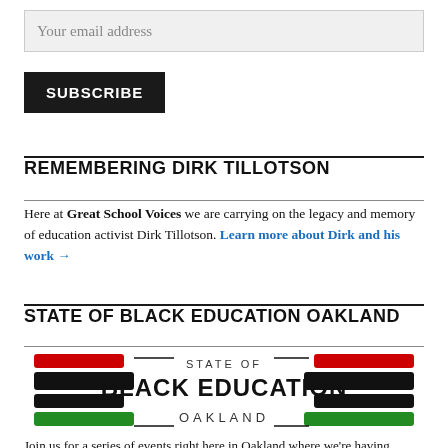Your email address
SUBSCRIBE
REMEMBERING DIRK TILLOTSON
Here at Great School Voices we are carrying on the legacy and memory of education activist Dirk Tillotson. Learn more about Dirk and his work →
STATE OF BLACK EDUCATION OAKLAND
[Figure (logo): State of Black Education Oakland logo with red, black and green stacked bars on left and right sides, and bold text in center reading STATE OF BLACK EDUCATION OAKLAND]
Join us for a series of events right here in Oakland where we're having honest conversation with others in the Black community about how we got here and where we can go